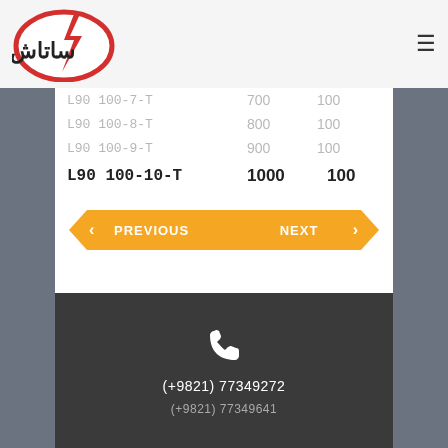[Figure (logo): Company logo with Arabic text and lightning bolt symbol, red circle border]
| Model | Value1 | Value2 |
| --- | --- | --- |
| L90 100-7-T | 700 | 100 |
| L90 100-8-T | 800 | 100 |
| L90 100-9-T | 900 | 100 |
| L90 100-10-T | 1000 | 100 |
PREVIOUS | NEXT navigation buttons
(+9821) 77349272
(+9821) 77349641